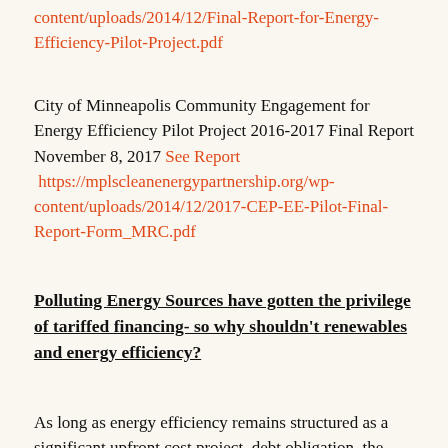content/uploads/2014/12/Final-Report-for-Energy-Efficiency-Pilot-Project.pdf
City of Minneapolis Community Engagement for Energy Efficiency Pilot Project 2016-2017 Final Report November 8, 2017 See Report https://mplscleanenergypartnership.org/wp-content/uploads/2014/12/2017-CEP-EE-Pilot-Final-Report-Form_MRC.pdf
Polluting Energy Sources have gotten the privilege of tariffed financing- so why shouldn't renewables and energy efficiency?
As long as energy efficiency remains structured as a significant upfront cost project, debt obligation, the